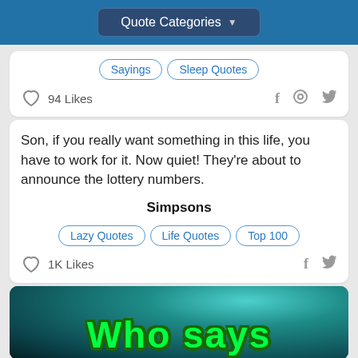Quote Categories
Sayings  Sleep Quotes
94 Likes
Son, if you really want something in this life, you have to work for it. Now quiet! They're about to announce the lottery numbers.
Simpsons
Lazy Quotes  Life Quotes  Top 100
1K Likes
[Figure (photo): Teal/dark blue-green background with bright green bold text reading 'Who says']